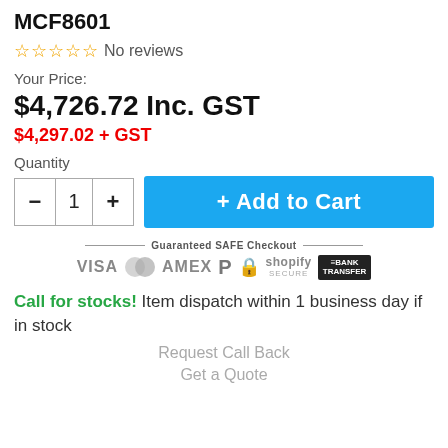MCF8601
☆☆☆☆☆ No reviews
Your Price:
$4,726.72 Inc. GST
$4,297.02 + GST
Quantity
[Figure (other): Quantity selector with minus, 1, plus buttons and Add to Cart button]
[Figure (other): Guaranteed SAFE Checkout banner with VISA, Mastercard, AMEX, PayPal, lock, Shopify Secure, and Bank Transfer icons]
Call for stocks! Item dispatch within 1 business day if in stock
Request Call Back
Get a Quote